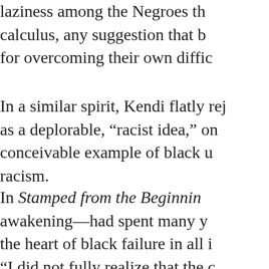laziness among the Negroes th- calculus, any suggestion that b- for overcoming their own diffic-
In a similar spirit, Kendi flatly rej- as a deplorable, "racist idea," on conceivable example of black u- racism.
In Stamped from the Beginnin- awakening—had spent many y- the heart of black failure in all i- "I did not fully realize that the c- something is wrong with Black-